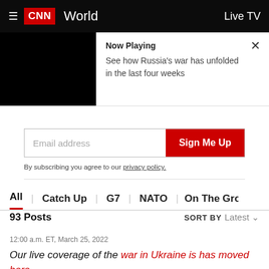CNN World | Live TV
[Figure (screenshot): Video player area showing black screen with Now Playing panel: 'See how Russia's war has unfolded in the last four weeks']
Now Playing
See how Russia's war has unfolded in the last four weeks
Email address  Sign Me Up
By subscribing you agree to our privacy policy.
All | Catch Up | G7 | NATO | On The Ground
93 Posts  SORT BY Latest
12:00 a.m. ET, March 25, 2022
Our live coverage of the war in Ukraine is has moved here.